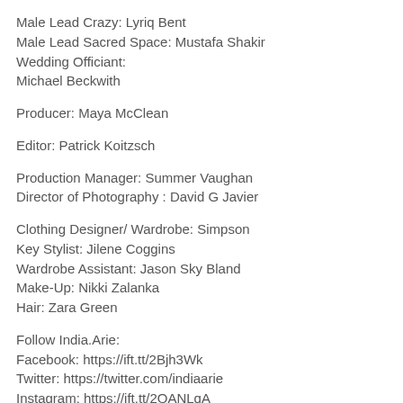Male Lead Crazy: Lyriq Bent
Male Lead Sacred Space: Mustafa Shakir
Wedding Officiant: Michael Beckwith
Producer: Maya McClean
Editor: Patrick Koitzsch
Production Manager: Summer Vaughhan
Director of Photography : David G Javier
Clothing Designer/ Wardrobe: Simpson
Key Stylist: Jilene Coggins
Wardrobe Assistant: Jason Sky Bland
Make-Up: Nikki Zalanka
Hair: Zara Green
Follow India.Arie:
Facebook: https://ift.tt/2Bjh3Wk
Twitter: https://twitter.com/indiaarie
Instagram: https://ift.tt/2QANLqA